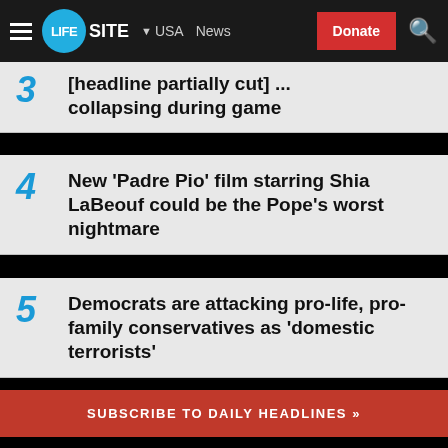LIFESITE — USA | News | Donate
3 — [headline partially visible] collapsing during game
4 — New 'Padre Pio' film starring Shia LaBeouf could be the Pope's worst nightmare
5 — Democrats are attacking pro-life, pro-family conservatives as 'domestic terrorists'
SUBSCRIBE TO DAILY HEADLINES »
News
Opinion
Blogs
Podcasts